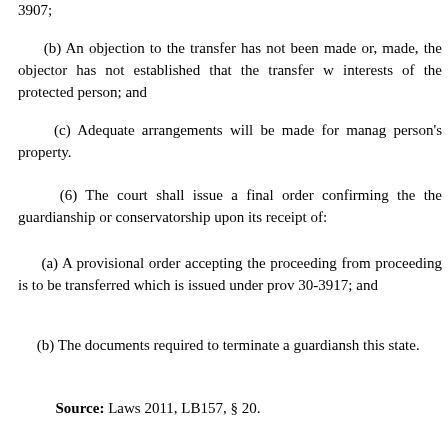3907;
(b) An objection to the transfer has not been made or, if made, the objector has not established that the transfer w interests of the protected person; and
(c) Adequate arrangements will be made for manag person's property.
(6) The court shall issue a final order confirming the the guardianship or conservatorship upon its receipt of:
(a) A provisional order accepting the proceeding from proceeding is to be transferred which is issued under prov 30-3917; and
(b) The documents required to terminate a guardiansh this state.
Source: Laws 2011, LB157, § 20.